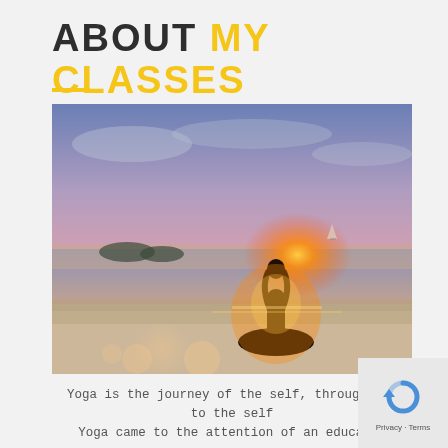ABOUT MY CLASSES
[Figure (photo): Silhouette of a person in a yoga tree pose meditating on a beach at sunset, with glowing orange light behind them, calm ocean water and distant islands in the background.]
Yoga is the journey of the self, through the to the self
Yoga came to the attention of an educated